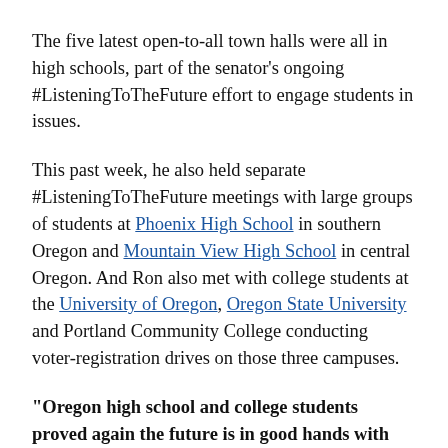The five latest open-to-all town halls were all in high schools, part of the senator's ongoing #ListeningToTheFuture effort to engage students in issues.
This past week, he also held separate #ListeningToTheFuture meetings with large groups of students at Phoenix High School in southern Oregon and Mountain View High School in central Oregon. And Ron also met with college students at the University of Oregon, Oregon State University and Portland Community College conducting voter-registration drives on those three campuses.
“Oregon high school and college students proved again the future is in good hands with their